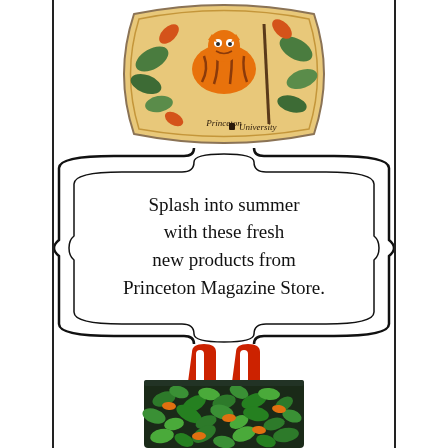[Figure (photo): Princeton University decorative pillow featuring a tiger illustration with tropical leaves and Princeton University text, shown from above against white background]
Splash into summer with these fresh new products from Princeton Magazine Store.
[Figure (photo): Dark tote bag with red handles featuring a jungle pattern of green tropical leaves and orange tigers, shown upright against white background]